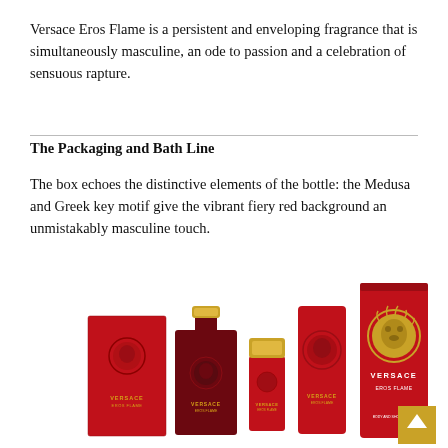Versace Eros Flame is a persistent and enveloping fragrance that is simultaneously masculine, an ode to passion and a celebration of sensuous rapture.
The Packaging and Bath Line
The box echoes the distinctive elements of the bottle: the Medusa and Greek key motif give the vibrant fiery red background an unmistakably masculine touch.
[Figure (photo): Product lineup of Versace Eros Flame fragrance and bath line: a red box packaging, a dark red glass cologne bottle with gold cap, a small red travel spray with gold cap, a medium red tube with Medusa face, and a tall red shower gel tube with Versace Eros Flame branding and gold Medusa head. A gold back-to-top button appears in the bottom right corner.]